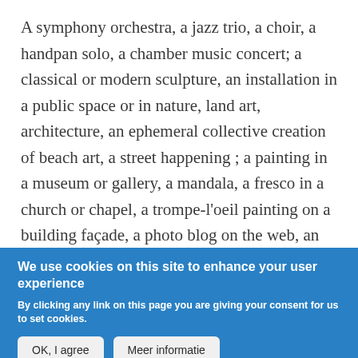A symphony orchestra, a jazz trio, a choir, a handpan solo, a chamber music concert; a classical or modern sculpture, an installation in a public space or in nature, land art, architecture, an ephemeral collective creation of beach art, a street happening ; a painting in a museum or gallery, a mandala, a fresco in a church or chapel, a trompe-l'oeil painting on a building façade, a photo blog on the web, an urban tag, a conceptual art proposal; a ballet, a hip-hop demo, a mime
We use cookies on this site to enhance your user experience
By clicking any link on this page you are giving your consent for us to set cookies.
OK, I agree
Meer informatie